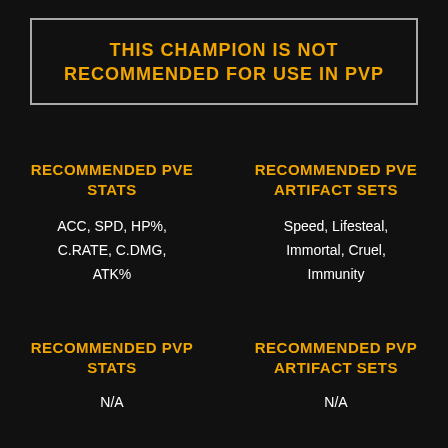THIS CHAMPION IS NOT RECOMMENDED FOR USE IN PVP
RECOMMENDED PVE STATS
RECOMMENDED PVE ARTIFACT SETS
ACC, SPD, HP%, C.RATE, C.DMG, ATK%
Speed, Lifesteal, Immortal, Cruel, Immunity
RECOMMENDED PVP STATS
RECOMMENDED PVP ARTIFACT SETS
N/A
N/A